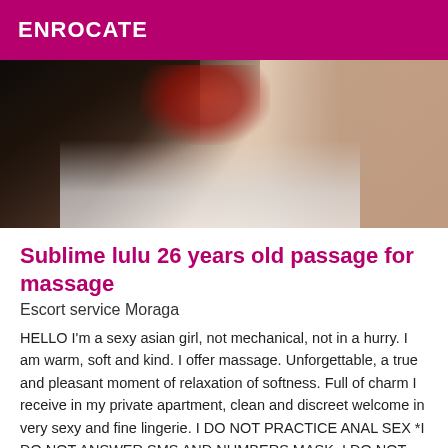ENROCATE
[Figure (photo): Woman in red dress lying down, long dark hair, photo cropped to show upper body against white surface]
Sublime lulu 26 years old passage for massage
Escort service Moraga
HELLO I'm a sexy asian girl, not mechanical, not in a hurry. I am warm, soft and kind. I offer massage. Unforgettable, a true and pleasant moment of relaxation of softness. Full of charm I receive in my private apartment, clean and discreet welcome in very sexy and fine lingerie. I DO NOT PRACTICE ANAL SEX *I DO NOT ANSWER SMS AND NUMBERS MASK. I DO NOT